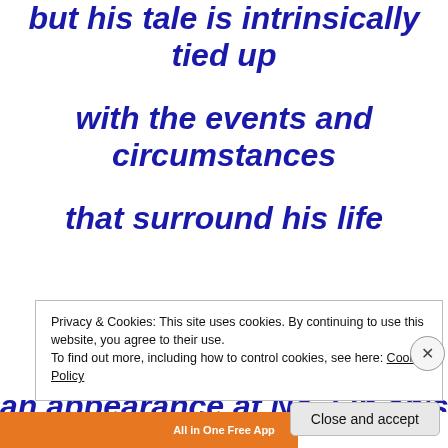but his tale is intrinsically tied up
with the events and circumstances
that surround his life
and for this reason he makes
an appearance at No.7 in eb's list of play-
Privacy & Cookies: This site uses cookies. By continuing to use this website, you agree to their use. To find out more, including how to control cookies, see here: Cookie Policy
Close and accept